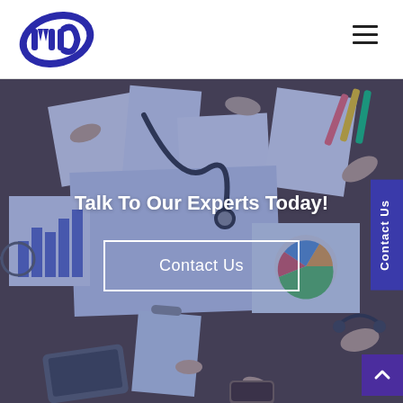[Figure (logo): Company logo with stylized 'M' or 'W' letters in dark blue/indigo]
[Figure (illustration): Hamburger menu icon (three horizontal lines) top right of header]
[Figure (photo): Overhead photo of business meeting table with people's hands, papers, charts, stethoscope, devices, coffee cup, with blue overlay tint]
Talk To Our Experts Today!
Contact Us